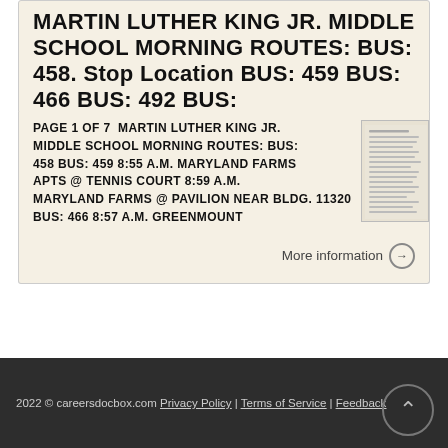MARTIN LUTHER KING JR. MIDDLE SCHOOL MORNING ROUTES: BUS: 458. Stop Location BUS: 459 BUS: 466 BUS: 492 BUS:
Page 1 of 7 MARTIN LUTHER KING JR. MIDDLE SCHOOL MORNING ROUTES: BUS: 458 BUS: 459 8:55 A.M. MARYLAND FARMS APTS @ TENNIS COURT 8:59 A.M. MARYLAND FARMS @ PAVILION NEAR BLDG. 11320 BUS: 466 8:57 A.M. GREENMOUNT
[Figure (screenshot): Thumbnail image of a document listing bus routes]
More information →
2022 © careersdocbox.com Privacy Policy | Terms of Service | Feedback